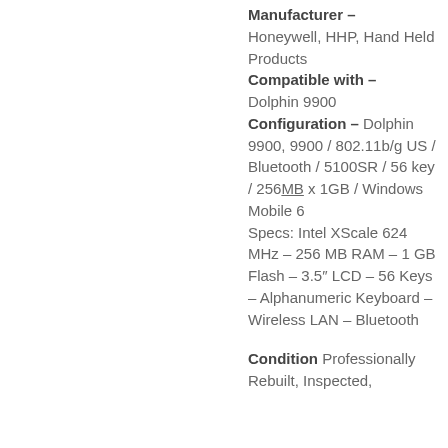Manufacturer – Honeywell, HHP, Hand Held Products
Compatible with – Dolphin 9900
Configuration – Dolphin 9900, 9900 / 802.11b/g US / Bluetooth / 5100SR / 56 key / 256MB x 1GB / Windows Mobile 6
Specs: Intel XScale 624 MHz – 256 MB RAM – 1 GB Flash – 3.5″ LCD – 56 Keys – Alphanumeric Keyboard – Wireless LAN – Bluetooth
Condition Professionally Rebuilt, Inspected,